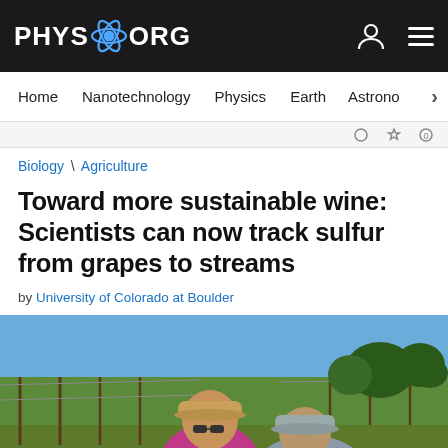PHYS.ORG
Home | Nanotechnology | Physics | Earth | Astronomy
Biology \ Agriculture
Toward more sustainable wine: Scientists can now track sulfur from grapes to streams
by University of Colorado at Boulder
[Figure (photo): Two researchers working in a vineyard on a sunny day. A woman in a pink shirt and tan cap with sunglasses is visible in the foreground, along with another person in a gray hat. Grapevine rows and trees are visible in the background under a blue sky.]